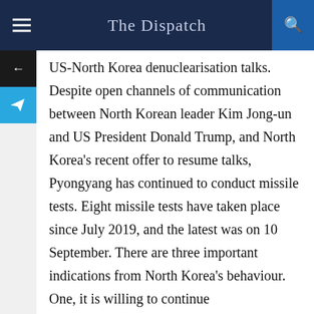The Dispatch
US-North Korea denuclearisation talks. Despite open channels of communication between North Korean leader Kim Jong-un and US President Donald Trump, and North Korea's recent offer to resume talks, Pyongyang has continued to conduct missile tests. Eight missile tests have taken place since July 2019, and the latest was on 10 September. There are three important indications from North Korea's behaviour. One, it is willing to continue denuclearisation talks with the US. Two, it will not consider giving up